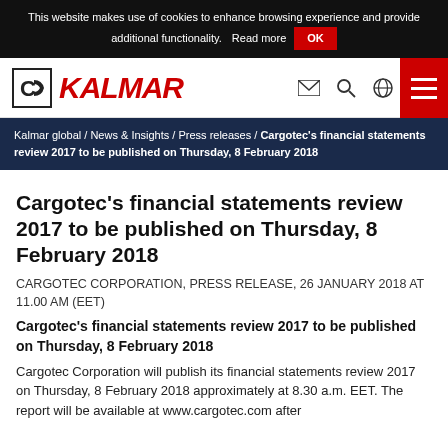This website makes use of cookies to enhance browsing experience and provide additional functionality. Read more OK
[Figure (logo): Kalmar logo with navigation icons and hamburger menu]
Kalmar global / News & Insights / Press releases / Cargotec's financial statements review 2017 to be published on Thursday, 8 February 2018
Cargotec's financial statements review 2017 to be published on Thursday, 8 February 2018
CARGOTEC CORPORATION, PRESS RELEASE, 26 JANUARY 2018 AT 11.00 AM (EET)
Cargotec's financial statements review 2017 to be published on Thursday, 8 February 2018
Cargotec Corporation will publish its financial statements review 2017 on Thursday, 8 February 2018 approximately at 8.30 a.m. EET. The report will be available at www.cargotec.com after